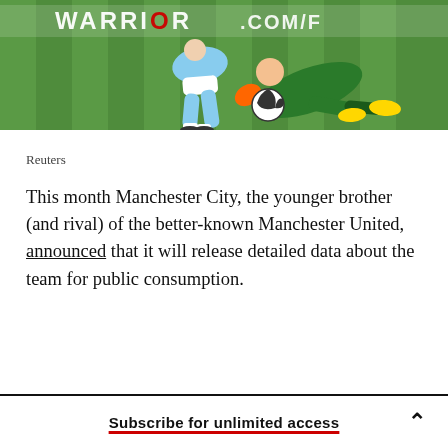[Figure (photo): Soccer/football goalkeeper diving to save a ball on a green grass pitch, with a WARRIOR advertising banner visible in the background. Players in sky blue and green kits.]
Reuters
This month Manchester City, the younger brother (and rival) of the better-known Manchester United, announced that it will release detailed data about the team for public consumption.
Subscribe for unlimited access